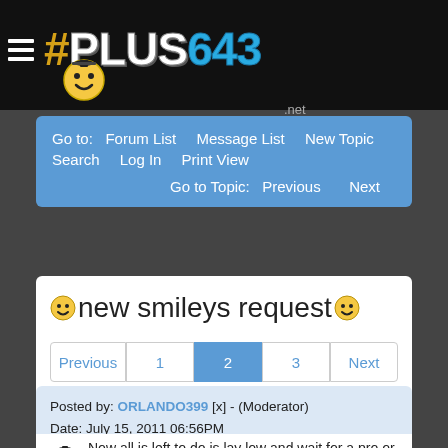#PLUS643 .net
Go to:  Forum List  Message List  New Topic  Search  Log In  Print View
Go to Topic:  Previous  Next
new smileys request
Previous  1  2  3  Next
Posted by: ORLANDO399 [x] - (Moderator)
Date: July 15, 2011 06:56PM
Now all is left to do is lay low and wait for a pro or